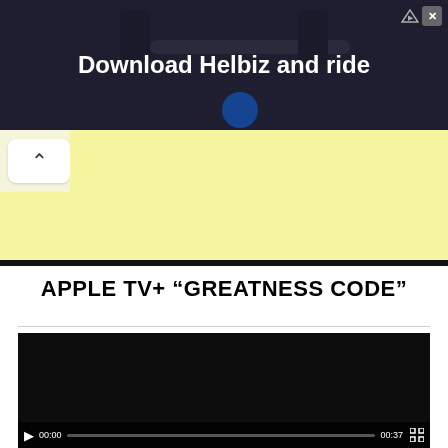[Figure (screenshot): Advertisement banner for Helbiz scooter app showing handlebars of an electric scooter with text 'Download Helbiz and ride']
[Figure (screenshot): Browser navigation bar with back arrow button on white background and yellow address bar area]
APPLE TV+ “GREATNESS CODE”
[Figure (screenshot): Embedded video player with dark/black screen showing video controls at bottom including play button, time 00:00, progress bar, end time 00:37, and fullscreen button]